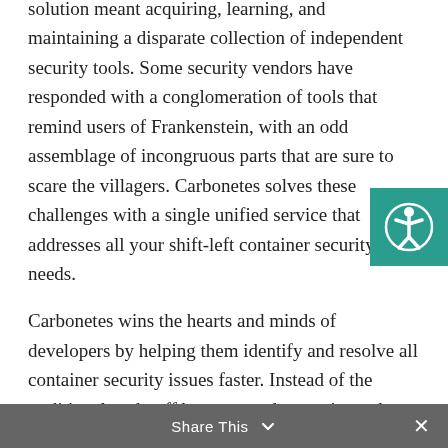solution meant acquiring, learning, and maintaining a disparate collection of independent security tools. Some security vendors have responded with a conglomeration of tools that remind users of Frankenstein, with an odd assemblage of incongruous parts that are sure to scare the villagers. Carbonetes solves these challenges with a single unified service that addresses all your shift-left container security needs.
Carbonetes wins the hearts and minds of developers by helping them identify and resolve all container security issues faster. Instead of the traditional trade-off between code security and development efficiency, Carbonetes delivers both. "Carbonetes provides one-click analysis of all aspects of your containerized code, then evaluates those results against your security policy," said Mike Hogan...
[Figure (other): Accessibility icon badge — teal/green square with a white circular accessibility person icon]
Share This